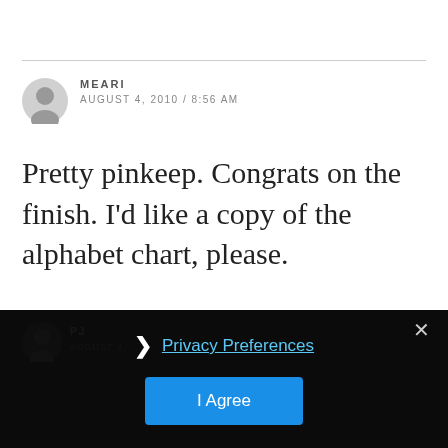MEARI
AUGUST 4, 2010 / 8:56 AM
Pretty pinkeep. Congrats on the finish. I'd like a copy of the alphabet chart, please.
PJ
AUGUST 4,
Privacy Preferences
I Agree
Your finishes are so beautiful! What